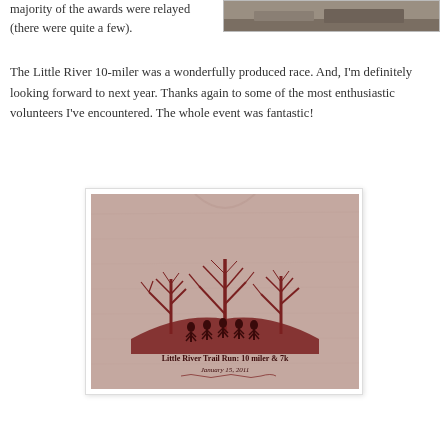majority of the awards were relayed (there were quite a few).
[Figure (photo): Partial photo visible at top right of page, showing outdoor/ground scene, cropped]
The Little River 10-miler was a wonderfully produced race. And, I'm definitely looking forward to next year. Thanks again to some of the most enthusiastic volunteers I've encountered. The whole event was fantastic!
[Figure (photo): Photo of a pink/mauve t-shirt with red graphic showing trees and runners silhouettes, text reads: Little River Trail Run: 10 miler & 7k, January 15, 2011]